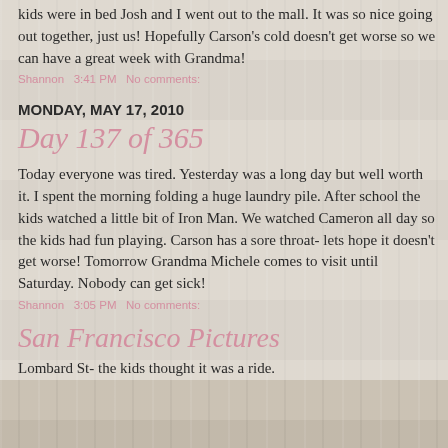kids were in bed Josh and I went out to the mall. It was so nice going out together, just us! Hopefully Carson's cold doesn't get worse so we can have a great week with Grandma!
Shannon   3:41 PM   No comments:
MONDAY, MAY 17, 2010
Day 137 of 365
Today everyone was tired. Yesterday was a long day but well worth it. I spent the morning folding a huge laundry pile. After school the kids watched a little bit of Iron Man. We watched Cameron all day so the kids had fun playing. Carson has a sore throat- lets hope it doesn't get worse! Tomorrow Grandma Michele comes to visit until Saturday. Nobody can get sick!
Shannon   3:05 PM   No comments:
San Francisco Pictures
Lombard St- the kids thought it was a ride.